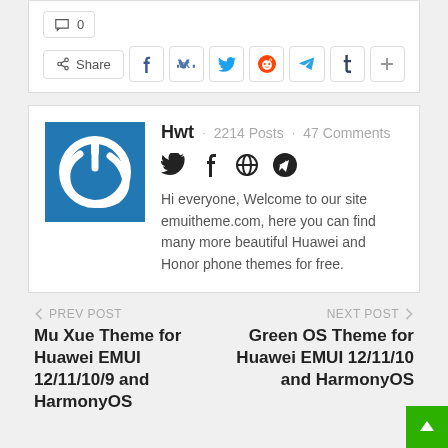💬 0
Share · Facebook · VK · Twitter · Reddit · Telegram · Tumblr · +
[Figure (logo): Blue square logo with white power/loading symbol]
Hwt · 2214 Posts · 47 Comments
[Figure (infographic): Social icons: Twitter, Facebook, Globe, Telegram]
Hi everyone, Welcome to our site emuitheme.com, here you can find many more beautiful Huawei and Honor phone themes for free.
← PREV POST
Mu Xue Theme for Huawei EMUI 12/11/10/9 and HarmonyOS
NEXT POST →
Green OS Theme for Huawei EMUI 12/11/10 and HarmonyOS